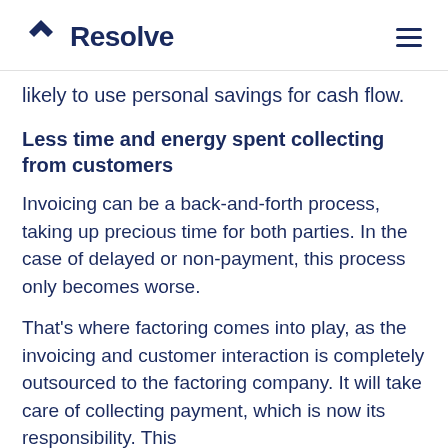Resolve
likely to use personal savings for cash flow.
Less time and energy spent collecting from customers
Invoicing can be a back-and-forth process, taking up precious time for both parties. In the case of delayed or non-payment, this process only becomes worse.
That’s where factoring comes into play, as the invoicing and customer interaction is completely outsourced to the factoring company. It will take care of collecting payment, which is now its responsibility. This